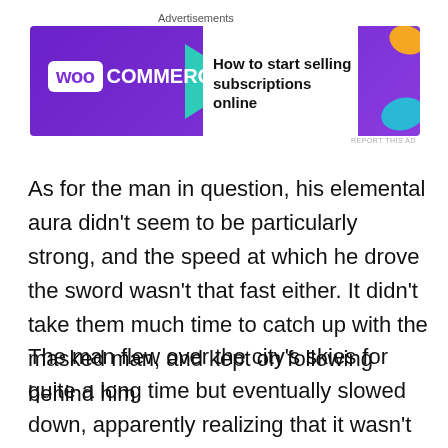[Figure (other): WooCommerce advertisement banner with purple background showing WooCommerce logo and text 'How to start selling subscriptions online']
As for the man in question, his elemental aura didn't seem to be particularly strong, and the speed at which he drove the sword wasn't that fast either. It didn't take them much time to catch up with the masked man, and kept on following behind him.
The man flew over the city's skies for quite a long time but eventually slowed down, apparently realizing that it wasn't possible to get away from them, and landed on a spacious and empty